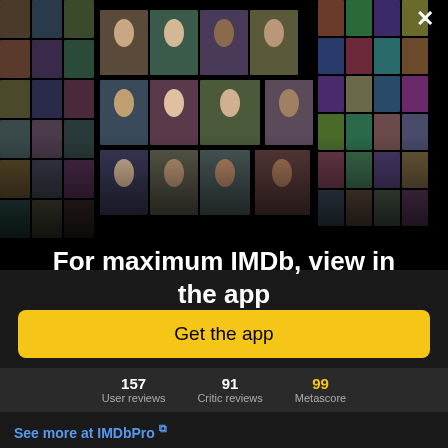[Figure (screenshot): IMDb app promotion modal overlay showing a collage of movie posters and celebrity photos arranged in a perspective grid on a black background. An X close button appears in the top right corner.]
For maximum IMDb, view in the app
Get the app
157 User reviews  91 Critic reviews  99 Metascore
See more at IMDbPro ↗